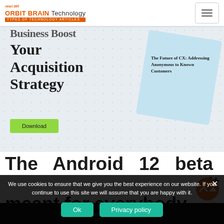ORBIT BRAIN Technology — Types of Technology Articles
[Figure (screenshot): Banner advertisement: text 'Your Acquisition Strategy' and sidebar text 'The Future of CX: Addressing Anonymous to Known Customers' with a Download button on a dotted background with light blue card element]
The Android 12 beta isn't meant for everybody
We use cookies to ensure that we give you the best experience on our website. If you continue to use this site we will assume that you are happy with it.
Ok   Privacy policy